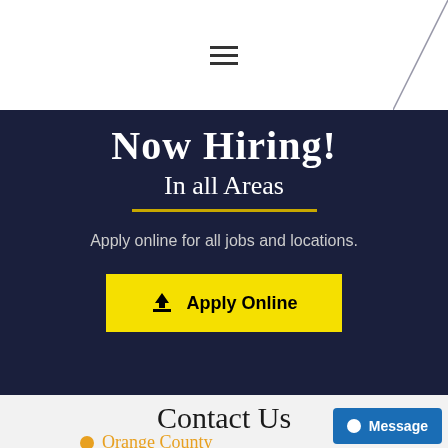☰ (hamburger menu icon)
Now Hiring!
In all Areas
Apply online for all jobs and locations.
Apply Online
Contact Us
Orange County